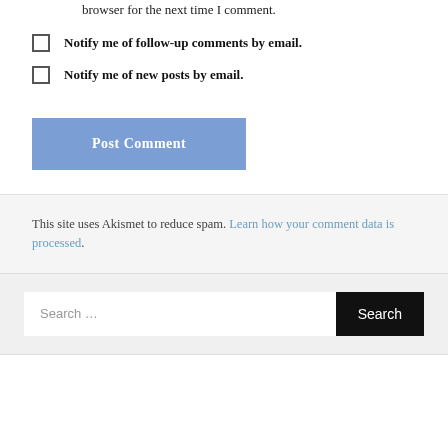browser for the next time I comment.
Notify me of follow-up comments by email.
Notify me of new posts by email.
Post Comment
This site uses Akismet to reduce spam. Learn how your comment data is processed.
Search …